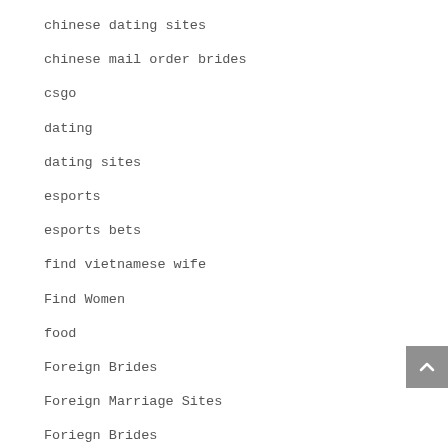chinese dating sites
chinese mail order brides
csgo
dating
dating sites
esports
esports bets
find vietnamese wife
Find Women
food
Foreign Brides
Foreign Marriage Sites
Foriegn Brides
free adult chat
Get A Bride